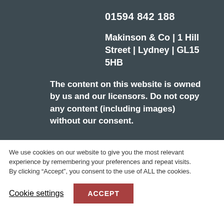01594 842 188
Makinson & Co | 1 Hill Street | Lydney | GL15 5HB
The content on this website is owned by us and our licensors. Do not copy any content (including images) without our consent.
We use cookies on our website to give you the most relevant experience by remembering your preferences and repeat visits. By clicking “Accept”, you consent to the use of ALL the cookies.
Cookie settings
ACCEPT